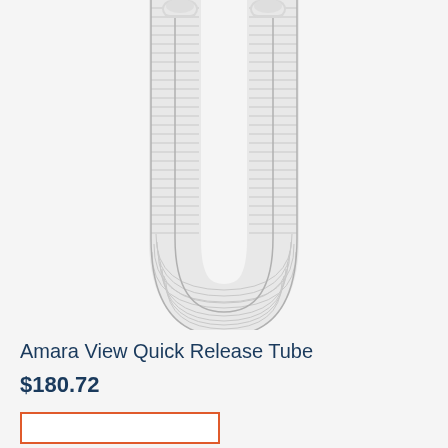[Figure (photo): White corrugated flexible CPAP tubing (Amara View Quick Release Tube) arranged in a U-shape on a light gray background. The tube forms a loop with connectors visible at the top.]
Amara View Quick Release Tube
$180.72